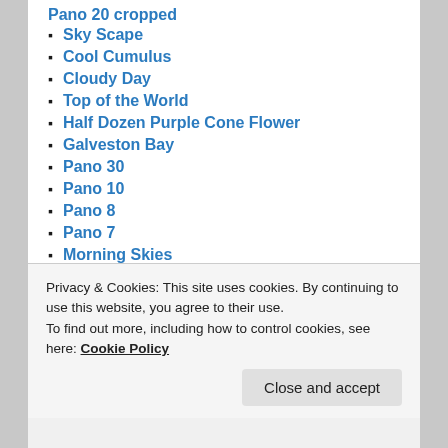Pano 20 cropped
Sky Scape
Cool Cumulus
Cloudy Day
Top of the World
Half Dozen Purple Cone Flower
Galveston Bay
Pano 30
Pano 10
Pano 8
Pano 7
Morning Skies
Light
Ice
High Fog
Privacy & Cookies: This site uses cookies. By continuing to use this website, you agree to their use.
To find out more, including how to control cookies, see here: Cookie Policy
Close and accept